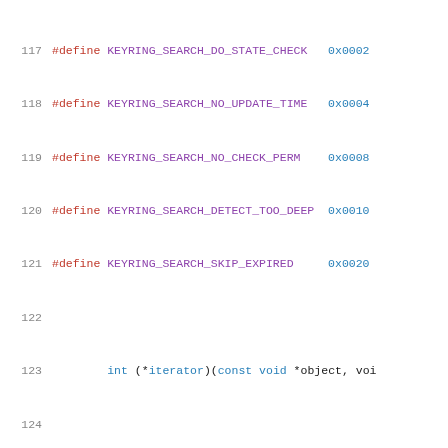117  #define KEYRING_SEARCH_DO_STATE_CHECK   0x0002
118  #define KEYRING_SEARCH_NO_UPDATE_TIME   0x0004
119  #define KEYRING_SEARCH_NO_CHECK_PERM    0x0008
120  #define KEYRING_SEARCH_DETECT_TOO_DEEP  0x0010
121  #define KEYRING_SEARCH_SKIP_EXPIRED     0x0020
122
123          int (*iterator)(const void *object, voi
124
125          /* Internal stuff */
126          int                             skipped_ret;
127          bool                            possessed;
128          key_ref_t                       result;
129          struct timespec                 now;
130  };
131
132  extern bool key_default_cmp(const struct key *ke
133                                      const struct key_ma
134  extern key_ref_t keyring_search_aux(key_ref_t ke
135                                      struct keyr
136
137  extern key_ref_t search_my_process_keyrings(str